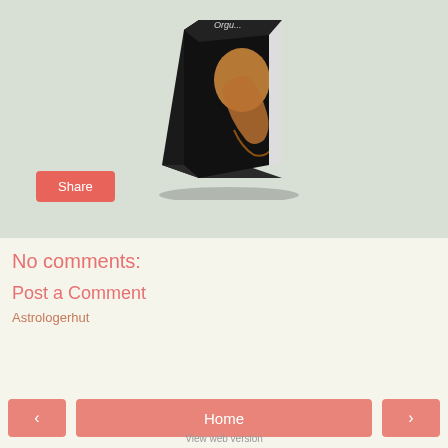[Figure (photo): A black book cover with a figure on it, shown at an angle as a 3D book mockup]
Share
No comments:
Post a Comment
Astrologerhut
‹
Home
›
View web version